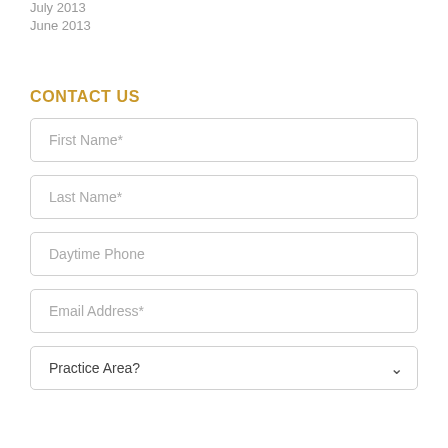July 2013
June 2013
CONTACT US
First Name*
Last Name*
Daytime Phone
Email Address*
Practice Area?